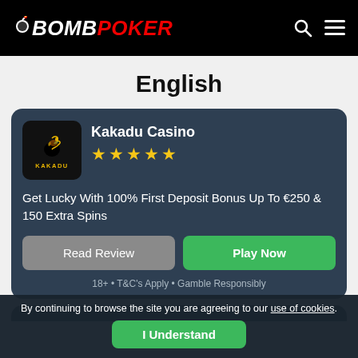BOMB POKER
English
Kakadu Casino ★★★★★ Get Lucky With 100% First Deposit Bonus Up To €250 & 150 Extra Spins
Read Review | Play Now
18+ • T&C's Apply • Gamble Responsibly
By continuing to browse the site you are agreeing to our use of cookies.
I Understand